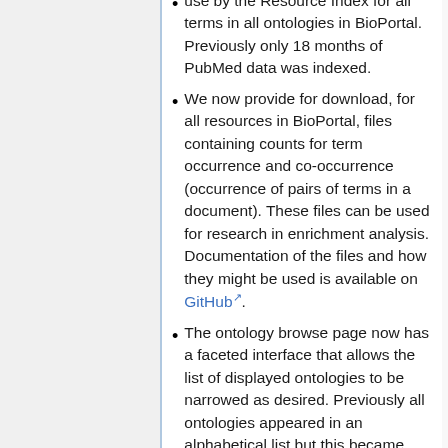use by the Resource Index for all terms in all ontologies in BioPortal. Previously only 18 months of PubMed data was indexed.
We now provide for download, for all resources in BioPortal, files containing counts for term occurrence and co-occurrence (occurrence of pairs of terms in a document). These files can be used for research in enrichment analysis. Documentation of the files and how they might be used is available on GitHub.
The ontology browse page now has a faceted interface that allows the list of displayed ontologies to be narrowed as desired. Previously all ontologies appeared in an alphabetical list but this became unwieldy with the 400+ ontologies